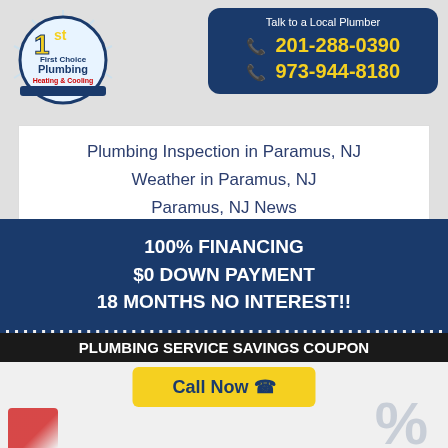[Figure (logo): 1st First Choice Plumbing Heating & Cooling logo with yellow '1st' and blue/red text on circular emblem]
Talk to a Local Plumber
201-288-0390
973-944-8180
Plumbing Inspection in Paramus, NJ
Weather in Paramus, NJ
Paramus, NJ News
About Paramus, NJ
Local Traffic in Paramus, NJ
Police Dept. in Paramus, NJ
100% FINANCING
$0 DOWN PAYMENT
18 MONTHS NO INTEREST!!
PLUMBING SERVICE SAVINGS COUPON
Call Now